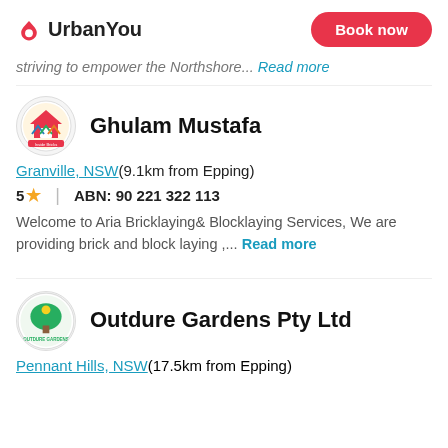UrbanYou | Book now
striving to empower the Northshore... Read more
Ghulam Mustafa
Granville, NSW(9.1km from Epping)
5 ★   ABN: 90 221 322 113
Welcome to Aria Bricklaying& Blocklaying Services, We are providing brick and block laying ,... Read more
Outdure Gardens Pty Ltd
Pennant Hills, NSW(17.5km from Epping)